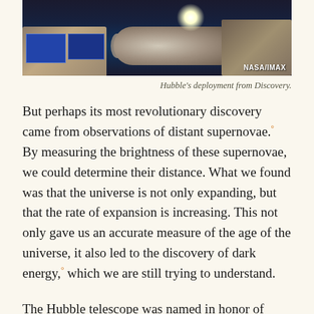[Figure (photo): Photograph of the Hubble Space Telescope being deployed from Space Shuttle Discovery, against a black space background. The telescope's cylindrical body is visible with a bright light source. NASA/IMAX watermark in bottom right.]
Hubble's deployment from Discovery.
But perhaps its most revolutionary discovery came from observations of distant supernovae.° By measuring the brightness of these supernovae, we could determine their distance. What we found was that the universe is not only expanding, but that the rate of expansion is increasing. This not only gave us an accurate measure of the age of the universe, it also led to the discovery of dark energy,° which we are still trying to understand.
The Hubble telescope was named in honor of Edwin Hubble, who played a central role in demonstrating that